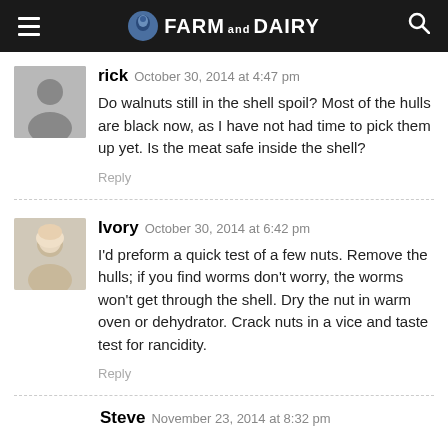Farm and Dairy
rick  October 30, 2014 at 4:47 pm
Do walnuts still in the shell spoil? Most of the hulls are black now, as I have not had time to pick them up yet. Is the meat safe inside the shell?
Reply
Ivory  October 30, 2014 at 6:42 pm
I'd preform a quick test of a few nuts. Remove the hulls; if you find worms don't worry, the worms won't get through the shell. Dry the nut in warm oven or dehydrator. Crack nuts in a vice and taste test for rancidity.
Reply
Steve  November 23, 2014 at 8:32 pm